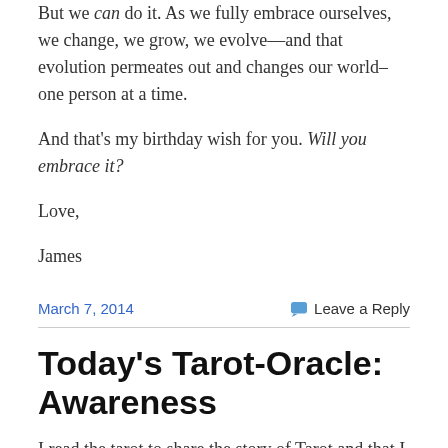But we can do it. As we fully embrace ourselves, we change, we grow, we evolve—and that evolution permeates out and changes our world–one person at a time.
And that's my birthday wish for you. Will you embrace it?
Love,
James
March 7, 2014    Leave a Reply
Today's Tarot-Oracle: Awareness
I read the tarot to share the story of Tarot and that I...